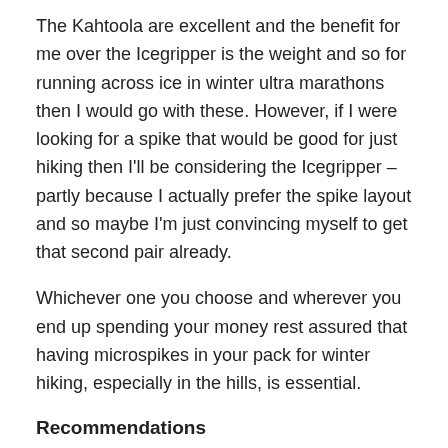The Kahtoola are excellent and the benefit for me over the Icegripper is the weight and so for running across ice in winter ultra marathons then I would go with these. However, if I were looking for a spike that would be good for just hiking then I'll be considering the Icegripper – partly because I actually prefer the spike layout and so maybe I'm just convincing myself to get that second pair already.
Whichever one you choose and wherever you end up spending your money rest assured that having microspikes in your pack for winter hiking, especially in the hills, is essential.
Recommendations
What I would recommend you do is do some research, things like YouTube are a great starting point if you need